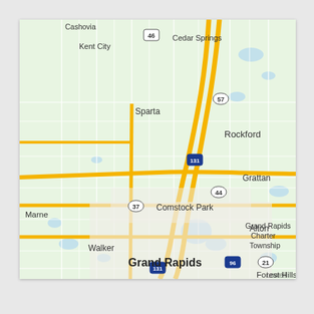[Figure (map): Google Maps view of Grand Rapids, Michigan area showing cities including Cashovia, Kent City, Cedar Springs, Sparta, Rockford, Marne, Comstock Park, Walker, Grand Rapids, Grand Rapids Charter Township, Forest Hills, Grattan, Alton, and Lowell. Major roads including routes 46, 57, 37, 131, 44, 96, and 21 are shown.]